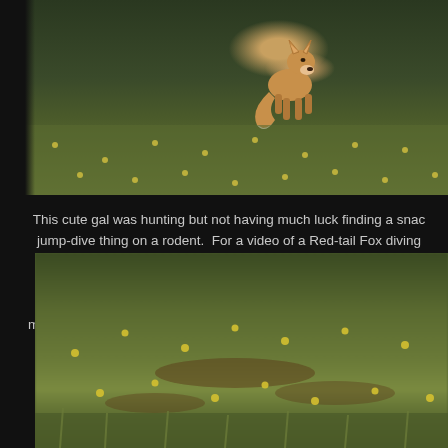[Figure (photo): A fox walking through a green meadow with small yellow wildflowers, with dark forest trees in the background. The fox appears to be hunting.]
This cute gal was hunting but not having much luck finding a snack to jump-dive thing on a rodent.  For a video of a Red-tail Fox diving into laugh?    Finally she started her approach and then up she went.  At my Nikon DF not the D4s.  I keep the D4s on the 600mm lens.  The DF shoots at best 5 frames.  DANG IT!!!!  At lea
[Figure (photo): A blurred close-up view of a green meadow with small yellow wildflowers scattered across the grass, taken from a low angle.]